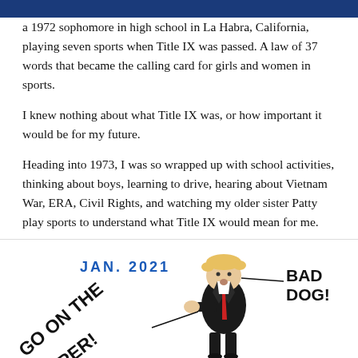a 1972 sophomore in high school in La Habra, California, playing seven sports when Title IX was passed. A law of 37 words that became the calling card for girls and women in sports.
I knew nothing about what Title IX was, or how important it would be for my future.
Heading into 1973, I was so wrapped up with school activities, thinking about boys, learning to drive, hearing about Vietnam War, ERA, Civil Rights, and watching my older sister Patty play sports to understand what Title IX would mean for me.
Political Cartoons
[Figure (illustration): Political cartoon dated JAN. 2021 showing a figure in a dark suit with blonde hair being scolded. Text reads 'GO ON THE PAPER!' and 'BAD DOG!']